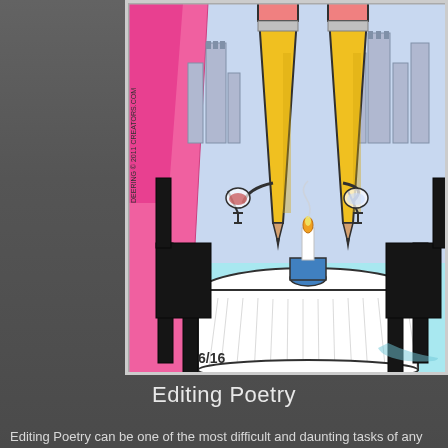[Figure (illustration): A comic strip illustration showing two giant pencils sitting at a romantic dinner table with wine glasses and a lit candle. The scene is set against a city skyline background. The pencils appear to be on a date. Copyright mark reads 'DEERING © 2011 CREATORS.COM' with date '6/16' visible in the lower left corner.]
Editing Poetry
Editing Poetry can be one of the most difficult and daunting tasks of any